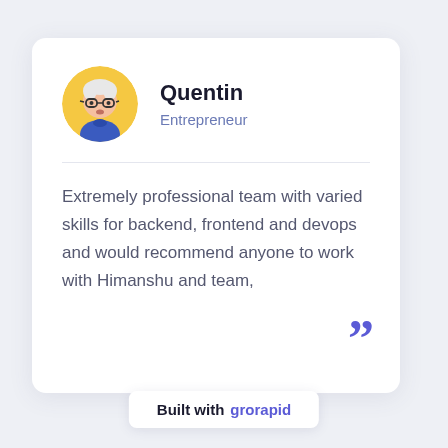[Figure (illustration): Cartoon avatar of an elderly person with glasses and white hair on a yellow circular background]
Quentin
Entrepreneur
Extremely professional team with varied skills for backend, frontend and devops and would recommend anyone to work with Himanshu and team,
Built with grorapid